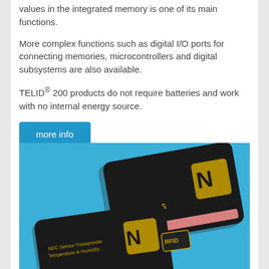values in the integrated memory is one of its main functions.
More complex functions such as digital I/O ports for connecting memories, microcontrollers and digital subsystems are also available.
TELID® 200 products do not require batteries and work with no internal energy source.
more info
[Figure (photo): Two TELID NFC/RFID tags with black surface and gold lettering, including NFC and RFID logos, on a blue background. The upper tag reads TELID 632.05 and the lower one is also a TELID product.]